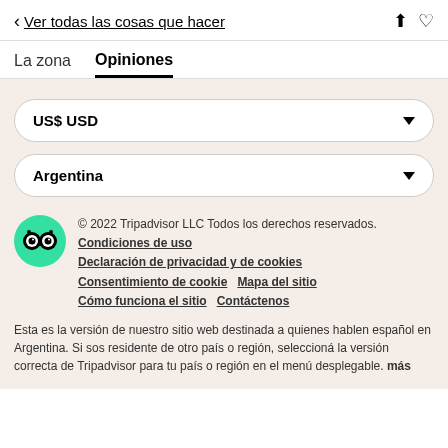< Ver todas las cosas que hacer
La zona   Opiniones
US$ USD
Argentina
© 2022 Tripadvisor LLC Todos los derechos reservados.
Condiciones de uso
Declaración de privacidad y de cookies
Consentimiento de cookie    Mapa del sitio
Cómo funciona el sitio    Contáctenos
Esta es la versión de nuestro sitio web destinada a quienes hablen español en Argentina. Si sos residente de otro país o región, seleccioná la versión correcta de Tripadvisor para tu país o región en el menú desplegable. más